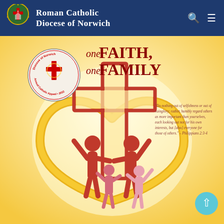Roman Catholic Diocese of Norwich
[Figure (illustration): Annual Catholic Appeal 2022 promotional image for 'One Faith, One Family' campaign. Features a large text header 'one FAITH, one FAMILY' in dark red on a warm golden/cream background. A circular seal/badge for Diocese of Norwich Annual Catholic Appeal 2022 appears top left. A Bible quote from Philippians 2:3-4 appears in italic text. The main illustration shows a cross outline with a golden heart shape and stylized figures of a family (two adults and two children) in red and pink, arranged together in a joyful pose.]